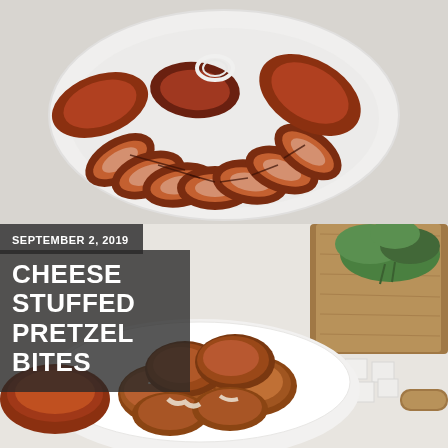[Figure (photo): Overhead view of sliced BBQ glazed pork tenderloin arranged in a circle on a white round plate, on a light marble surface]
[Figure (photo): Overhead view of cheese stuffed pretzel bites piled in a white bowl, with a wooden cutting board, fresh parsley, and cubed white cheese visible in the upper right background]
SEPTEMBER 2, 2019
CHEESE STUFFED PRETZEL BITES